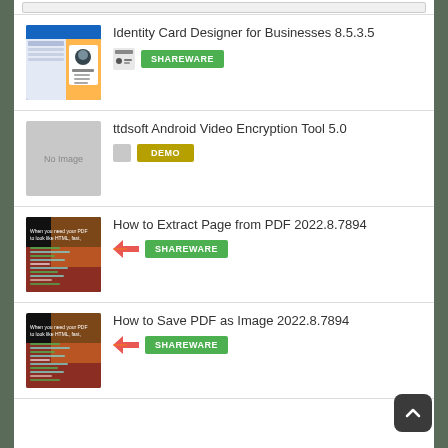Identity Card Designer for Businesses 8.5.3.5 - SHAREWARE
ttdsoft Android Video Encryption Tool 5.0 - DEMO
How to Extract Page from PDF 2022.8.7894 - SHAREWARE
How to Save PDF as Image 2022.8.7894 - SHAREWARE